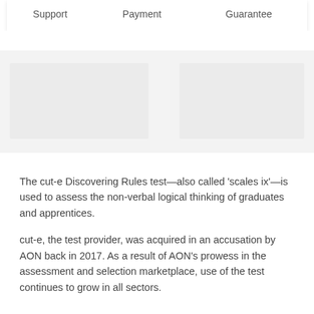| Support | Payment | Guarantee |
| --- | --- | --- |
[Figure (other): Two gray placeholder image boxes side by side on a light gray background]
The cut-e Discovering Rules test—also called 'scales ix'—is used to assess the non-verbal logical thinking of graduates and apprentices.
cut-e, the test provider, was acquired in an accusation by AON back in 2017. As a result of AON's prowess in the assessment and selection marketplace, use of the test continues to grow in all sectors.